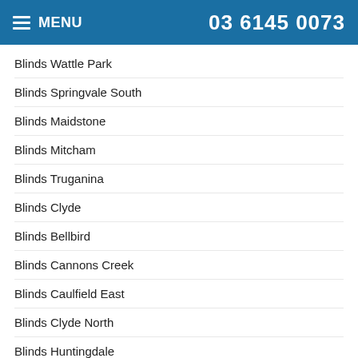MENU  03 6145 0073
Blinds Wattle Park
Blinds Springvale South
Blinds Maidstone
Blinds Mitcham
Blinds Truganina
Blinds Clyde
Blinds Bellbird
Blinds Cannons Creek
Blinds Caulfield East
Blinds Clyde North
Blinds Huntingdale